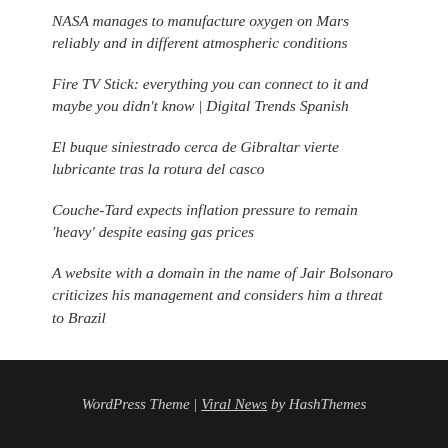NASA manages to manufacture oxygen on Mars reliably and in different atmospheric conditions
Fire TV Stick: everything you can connect to it and maybe you didn't know | Digital Trends Spanish
El buque siniestrado cerca de Gibraltar vierte lubricante tras la rotura del casco
Couche-Tard expects inflation pressure to remain 'heavy' despite easing gas prices
A website with a domain in the name of Jair Bolsonaro criticizes his management and considers him a threat to Brazil
WordPress Theme | Viral News by HashThemes